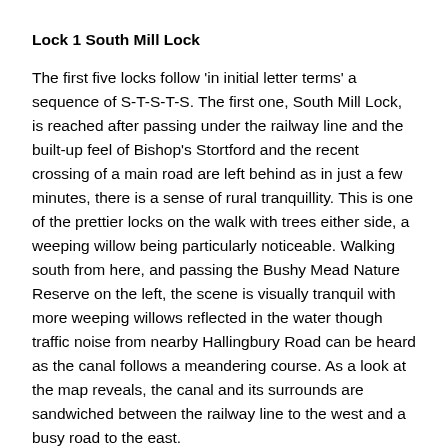Lock 1 South Mill Lock
The first five locks follow 'in initial letter terms' a sequence of S-T-S-T-S. The first one, South Mill Lock, is reached after passing under the railway line and the built-up feel of Bishop's Stortford and the recent crossing of a main road are left behind as in just a few minutes, there is a sense of rural tranquillity. This is one of the prettier locks on the walk with trees either side, a weeping willow being particularly noticeable. Walking south from here, and passing the Bushy Mead Nature Reserve on the left, the scene is visually tranquil with more weeping willows reflected in the water though traffic noise from nearby Hallingbury Road can be heard as the canal follows a meandering course. As a look at the map reveals, the canal and its surrounds are sandwiched between the railway line to the west and a busy road to the east.
Lock 2 Twyford Lock